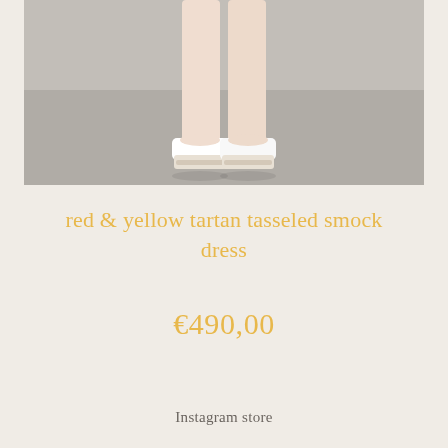[Figure (photo): Close-up photo of a person's lower legs wearing white open-toe mule sandals with a small heel, standing on a grey concrete floor. The photo is cropped showing only from mid-calf downward.]
red & yellow tartan tasseled smock dress
€490,00
Instagram store